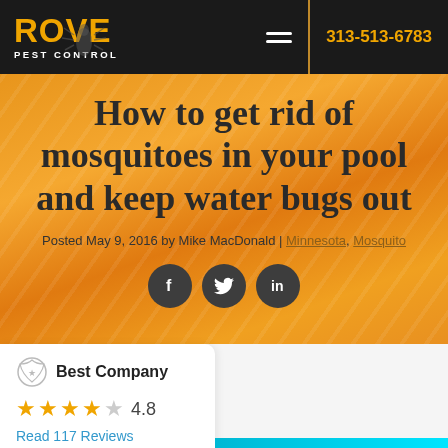ROVE PEST CONTROL | 313-513-6783
How to get rid of mosquitoes in your pool and keep water bugs out
Posted May 9, 2016 by Mike MacDonald | Minnesota, Mosquito
[Figure (logo): Best Company logo with laurel wreath icon and bold text 'Best Company']
4.8
Read 117 Reviews